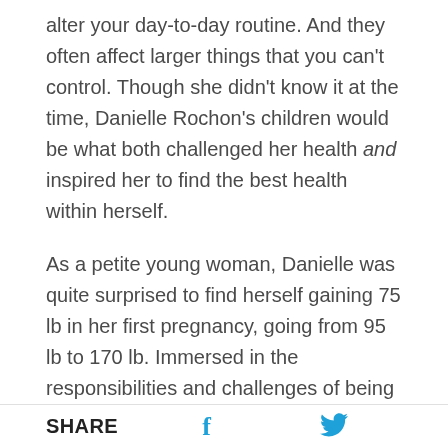alter your day-to-day routine. And they often affect larger things that you can't control. Though she didn't know it at the time, Danielle Rochon's children would be what both challenged her health and inspired her to find the best health within herself.
As a petite young woman, Danielle was quite surprised to find herself gaining 75 lb in her first pregnancy, going from 95 lb to 170 lb. Immersed in the responsibilities and challenges of being a new mom, she held onto most of her baby weight going into her second pregnancy. But when her weight gain for baby #2 seemed to be headed in the same direction as the first, it prompted her physician to
SHARE